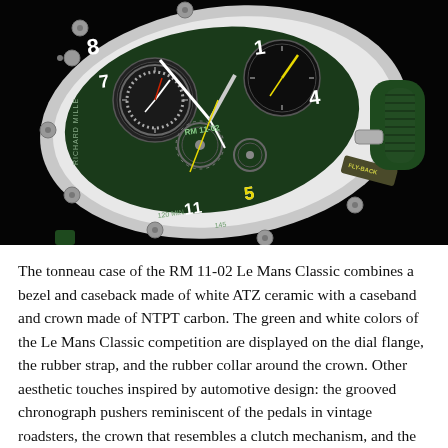[Figure (photo): Close-up photograph of the Richard Mille RM 11-02 Le Mans Classic watch, showing a tonneau-shaped case with white ATZ ceramic bezel, green dial with exposed skeleton movement, yellow and white hands, chronograph subdials, and a dark green rubber crown and strap on the right side with a 'FLY-BACK' pusher visible.]
The tonneau case of the RM 11-02 Le Mans Classic combines a bezel and caseback made of white ATZ ceramic with a caseband and crown made of NTPT carbon. The green and white colors of the Le Mans Classic competition are displayed on the dial flange, the rubber strap, and the rubber collar around the crown. Other aesthetic touches inspired by automotive design: the grooved chronograph pushers reminiscent of the pedals in vintage roadsters, the crown that resembles a clutch mechanism, and the movement's baseplate, which